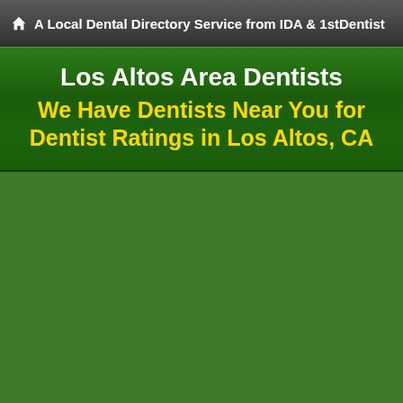A Local Dental Directory Service from IDA & 1stDentist
Los Altos Area Dentists
We Have Dentists Near You for Dentist Ratings in Los Altos, CA